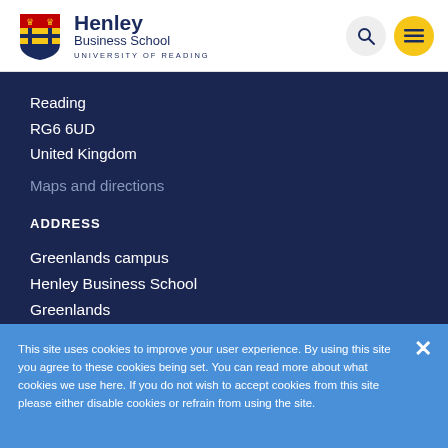Henley Business School University of Reading
Reading
RG6 6UD
United Kingdom
Maps and directions
ADDRESS
Greenlands campus
Henley Business School
Greenlands
This site uses cookies to improve your user experience. By using this site you agree to these cookies being set. You can read more about what cookies we use here. If you do not wish to accept cookies from this site please either disable cookies or refrain from using the site.